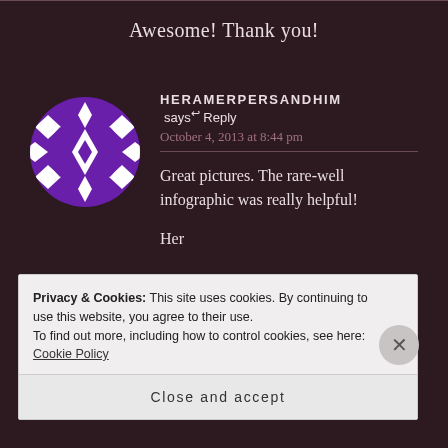Awesome! Thank you!
[Figure (illustration): Round avatar with purple and white geometric snowflake/diamond pattern on dark purple background]
HERAMERPERSANDHIM says: ↩ Reply
October 4, 2013 at 8:44 pm
Great pictures. The rare-well infographic was really helpful!

Her
Privacy & Cookies: This site uses cookies. By continuing to use this website, you agree to their use.
To find out more, including how to control cookies, see here: Cookie Policy
Close and accept